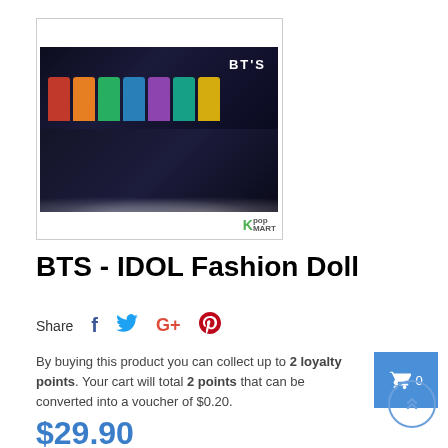[Figure (photo): BTS IDOL Fashion Doll product image showing BTS members as animated figures on a dark stage, with 'BTS' text logo, displayed in two rows. Kpop Mart logo visible in bottom right corner.]
BTS - IDOL Fashion Doll
Share
By buying this product you can collect up to 2 loyalty points. Your cart will total 2 points that can be converted into a voucher of $0.20.
$29.90